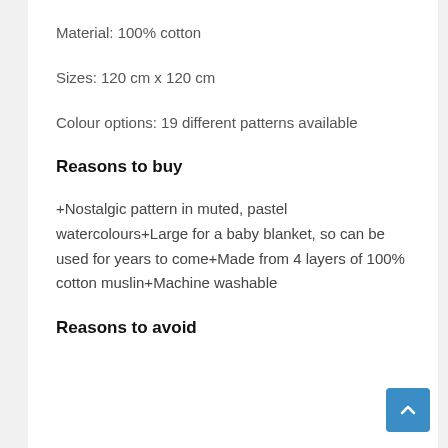Material: 100% cotton
Sizes: 120 cm x 120 cm
Colour options: 19 different patterns available
Reasons to buy
+Nostalgic pattern in muted, pastel watercolours+Large for a baby blanket, so can be used for years to come+Made from 4 layers of 100% cotton muslin+Machine washable
Reasons to avoid